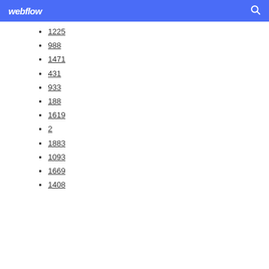webflow
1225
988
1471
431
933
188
1619
2
1883
1093
1669
1408